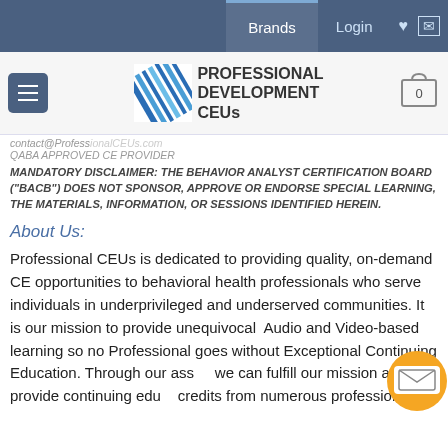Brands  Login
[Figure (logo): Professional Development CEUs logo with diagonal stripe pattern icon]
contact@ProfessionalCEUs.com
QABA APPROVED CE PROVIDER
MANDATORY DISCLAIMER: THE BEHAVIOR ANALYST CERTIFICATION BOARD ("BACB") DOES NOT SPONSOR, APPROVE OR ENDORSE SPECIAL LEARNING, THE MATERIALS, INFORMATION, OR SESSIONS IDENTIFIED HEREIN.
About Us:
Professional CEUs is dedicated to providing quality, on-demand CE opportunities to behavioral health professionals who serve individuals in underprivileged and underserved communities. It is our mission to provide unequivocal  Audio and Video-based learning so no Professional goes without Exceptional Continuing Education. Through our ass... we can fulfill our mission and provide continuing edu... credits from numerous professionals.